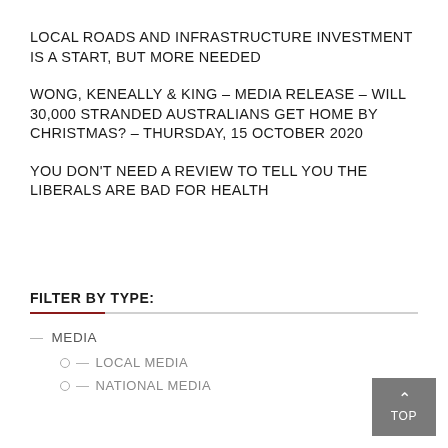LOCAL ROADS AND INFRASTRUCTURE INVESTMENT IS A START, BUT MORE NEEDED
WONG, KENEALLY & KING – MEDIA RELEASE – WILL 30,000 STRANDED AUSTRALIANS GET HOME BY CHRISTMAS? – THURSDAY, 15 OCTOBER 2020
YOU DON'T NEED A REVIEW TO TELL YOU THE LIBERALS ARE BAD FOR HEALTH
FILTER BY TYPE:
MEDIA
LOCAL MEDIA
NATIONAL MEDIA